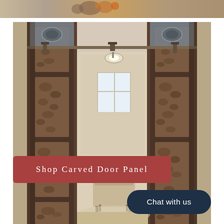[Figure (photo): Partial top strip showing a colorful scene, likely decorative or festive items.]
[Figure (photo): Interior room photo showing two ornate carved wooden barn-style sliding door panels on a metal rail track. The doors feature intricate relief carvings. Through the open center gap, a hallway/room with a window, ceiling light, upholstered bench/ottoman, and rug is visible. Walls are beige/tan.]
Shop Carved Door Panel
Chat with us